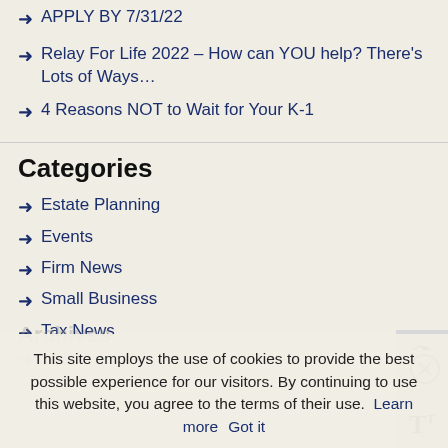APPLY BY 7/31/22
Relay For Life 2022 – How can YOU help? There's Lots of Ways…
4 Reasons NOT to Wait for Your K-1
Categories
Estate Planning
Events
Firm News
Small Business
Tax News
This site employs the use of cookies to provide the best possible experience for our visitors. By continuing to use this website, you agree to the terms of their use.  Learn more   Got it